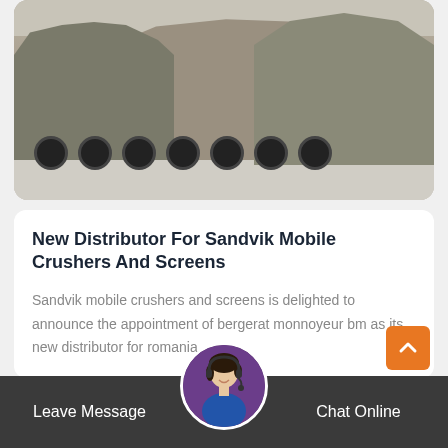[Figure (photo): Industrial heavy machinery/mobile crushers on flatbed trucks in a yard, photographed outdoors on concrete ground]
New Distributor For Sandvik Mobile Crushers And Screens
Sandvik mobile crushers and screens is delighted to announce the appointment of bergerat monnoyeur bm as its new distributor for romania...
More Details
Leave Message   Chat Online